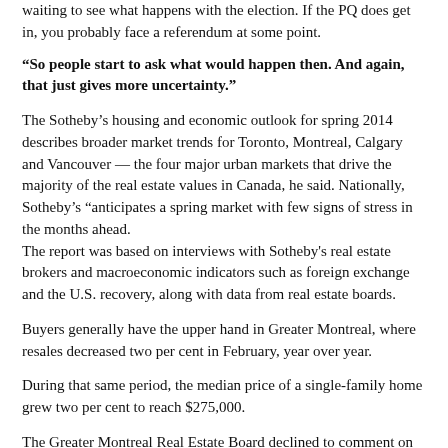waiting to see what happens with the election. If the PQ does get in, you probably face a referendum at some point.
“So people start to ask what would happen then. And again, that just gives more uncertainty.”
The Sotheby’s housing and economic outlook for spring 2014 describes broader market trends for Toronto, Montreal, Calgary and Vancouver — the four major urban markets that drive the majority of the real estate values in Canada, he said. Nationally, Sotheby’s “anticipates a spring market with few signs of stress in the months ahead.
The report was based on interviews with Sotheby's real estate brokers and macroeconomic indicators such as foreign exchange and the U.S. recovery, along with data from real estate boards.
Buyers generally have the upper hand in Greater Montreal, where resales decreased two per cent in February, year over year.
During that same period, the median price of a single-family home grew two per cent to reach $275,000.
The Greater Montreal Real Estate Board declined to comment on the